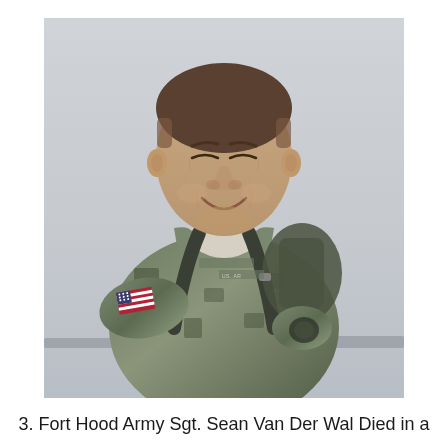[Figure (photo): A smiling young man in U.S. Army digital camouflage (ACU) uniform with a backpack, an American flag patch on his left sleeve, photographed outdoors with a hazy sky background.]
3. Fort Hood Army Sgt. Sean Van Der Wal Died in a